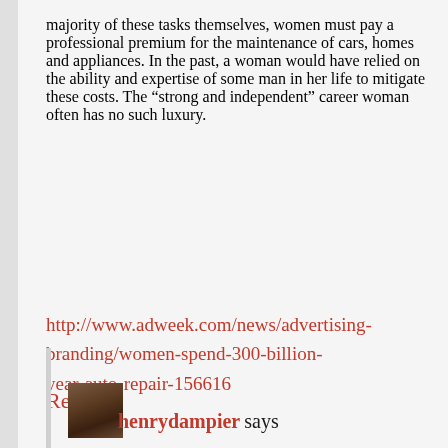majority of these tasks themselves, women must pay a professional premium for the maintenance of cars, homes and appliances. In the past, a woman would have relied on the ability and expertise of some man in her life to mitigate these costs. The “strong and independent” career woman often has no such luxury.
http://www.adweek.com/news/advertising-branding/women-spend-300-billion-year-auto-repair-156616
Reply
henrydampier says